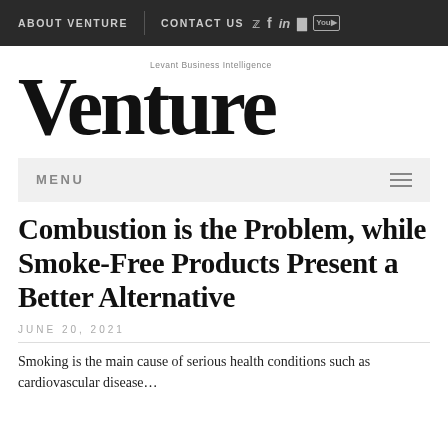ABOUT VENTURE | CONTACT US
[Figure (logo): Venture magazine logo with tagline 'Levant Business Intelligence']
MENU
Combustion is the Problem, while Smoke-Free Products Present a Better Alternative
JUNE 20, 2021
Smoking is the main cause of serious health conditions such as cardiovascular disease…